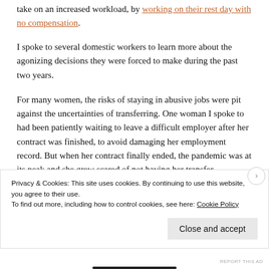take on an increased workload, by working on their rest day with no compensation.
I spoke to several domestic workers to learn more about the agonizing decisions they were forced to make during the past two years.
For many women, the risks of staying in abusive jobs were pit against the uncertainties of transferring. One woman I spoke to had been patiently waiting to leave a difficult employer after her contract was finished, to avoid damaging her employment record. But when her contract finally ended, the pandemic was at its peak and she grew scared of not having her transfer
Privacy & Cookies: This site uses cookies. By continuing to use this website, you agree to their use.
To find out more, including how to control cookies, see here: Cookie Policy